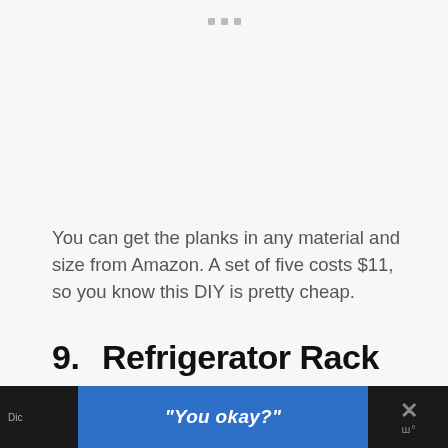[Figure (other): Three small grey navigation dots at top center of page]
You can get the planks in any material and size from Amazon. A set of five costs $11, so you know this DIY is pretty cheap.
9.   Refrigerator Rack
[Figure (photo): Photo of a refrigerator rack/organizer mounted inside a refrigerator, showing a white wire rack holding plastic wrap and other items]
[Figure (screenshot): Dark banner overlay at bottom with blue advertisement panel reading "You okay?" in italic white bold text, with partial text on left and X close button with W icon on right]